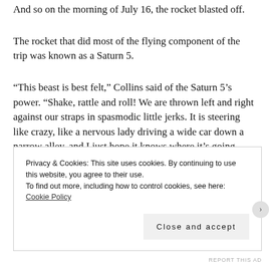And so on the morning of July 16, the rocket blasted off.
The rocket that did most of the flying component of the trip was known as a Saturn 5.
“This beast is best felt,” Collins said of the Saturn 5’s power. “Shake, rattle and roll! We are thrown left and right against our straps in spasmodic little jerks. It is steering like crazy, like a nervous lady driving a wide car down a narrow alley, and I just hope it knows where it’s going, because for the first 10 seconds we are perilously close to that umbilical tower.”
Privacy & Cookies: This site uses cookies. By continuing to use this website, you agree to their use.
To find out more, including how to control cookies, see here: Cookie Policy
Close and accept